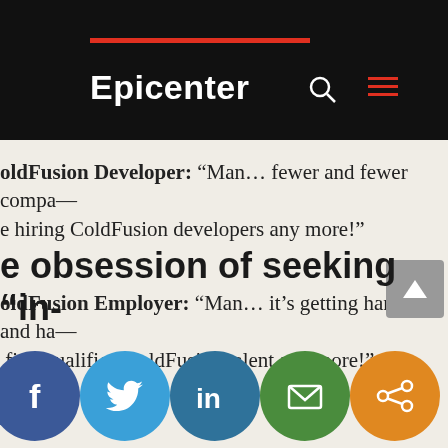Epicenter
ColdFusion Developer: “Man… fewer and fewer companies are hiring ColdFusion developers any more!”
ColdFusion Employer: “Man… it’s getting harder and harder to find qualified ColdFusion talent any more!”
e obsession of seeking “in-